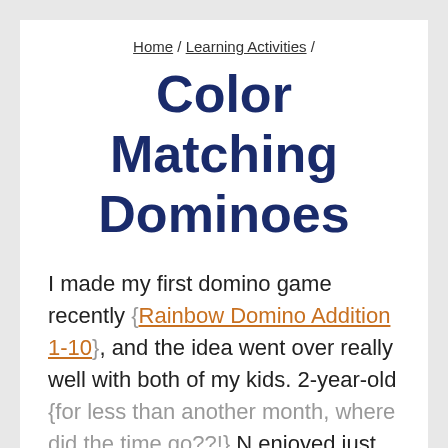Home / Learning Activities /
Color Matching Dominoes
I made my first domino game recently {Rainbow Domino Addition 1-10}, and the idea went over really well with both of my kids. 2-year-old {for less than another month, where did the time go??!} N enjoyed just lining up the rainbows, but I knew I could make something for him that's more his developmental level. That's how this set of Color Matching Dominoes was born. He fell in love <3